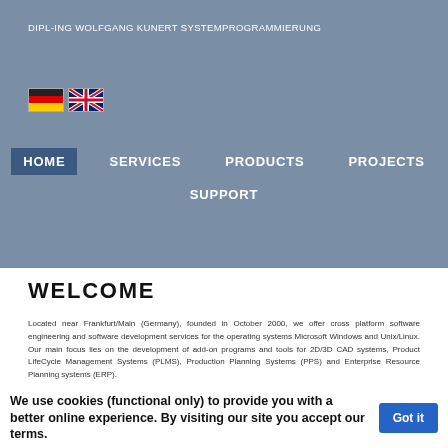DIPL-ING WOLFGANG KUNERT SYSTEMPROGRAMMIERUNG
[Figure (illustration): German flag and UK flag icons for language selection]
HOME   SERVICES   PRODUCTS   PROJECTS   SUPPORT
WELCOME
Located near Frankfurt/Main (Germany), founded in October 2000, we offer cross platform software engineering and software development services for the operating systems Microsoft Windows and Unix/Linux. Our main focus lies on the development of add-on programs and tools for 2D/3D CAD systems, Product LifeCycle Management Systems (PLMS), Production Planning Systems (PPS) and Enterprise Resource Planning systems (ERP).
We use cookies (functional only) to provide you with a better online experience. By visiting our site you accept our terms.